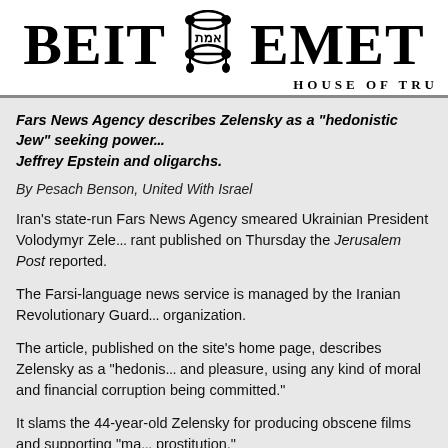BEIT EMET HOUSE OF TRU[TH]
Fars News Agency describes Zelensky as a “hedonistic Jew” seeking power... Jeffrey Epstein and oligarchs.
By Pesach Benson, United With Israel
Iran’s state-run Fars News Agency smeared Ukrainian President Volodymyr Zele[nsky in an antisemitic] rant published on Thursday the Jerusalem Post reported.
The Farsi-language news service is managed by the Iranian Revolutionary Guard[s Corps], a designated terrorist organization.
The article, published on the site’s home page, describes Zelensky as a “hedonis[tic Jew” seeking] and pleasure, using any kind of moral and financial corruption being committed.”
It slams the 44-year-old Zelensky for producing obscene films and supporting “ma[rriage… and] prostitution.”
The article goes on to claim that former U.S. President Donald Trump wanted to p[...]